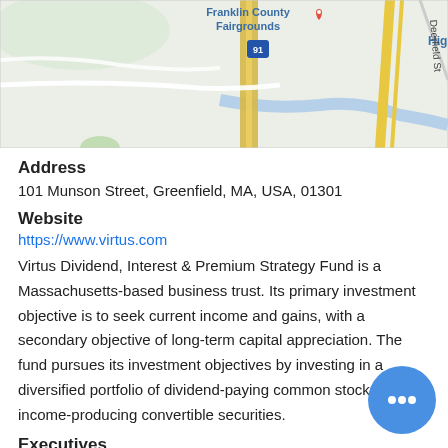[Figure (map): Google Maps view showing Franklin County Fairgrounds area with highway 91 and Deerfield St visible]
Address
101 Munson Street, Greenfield, MA, USA, 01301
Website
https://www.virtus.com
Virtus Dividend, Interest & Premium Strategy Fund is a Massachusetts-based business trust. Its primary investment objective is to seek current income and gains, with a secondary objective of long-term capital appreciation. The fund pursues its investment objectives by investing in a diversified portfolio of dividend-paying common stocks and income-producing convertible securities.
Executives
|  |  |